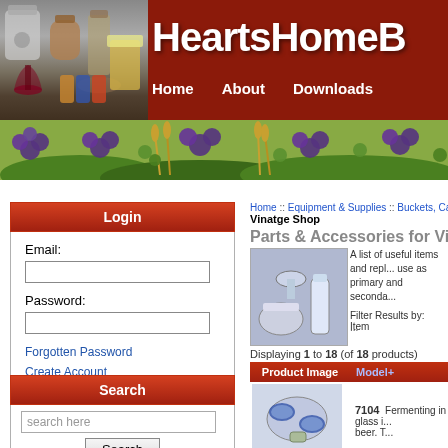[Figure (screenshot): HeartsHomeBrew website header banner with red background, logo items on left, site title, and navigation links: Home, About, Downloads]
[Figure (photo): Decorative banner showing grapes, hops, grain and greenery]
Home :: Equipment & Supplies :: Buckets, Carboys... :: Vinatge Shop
Parts & Accessories for Vinatge
[Figure (photo): Thumbnail image of various carboy/fermentation accessories including caps and tubes on purple background]
A list of useful items and replacements for use as primary and secondary...
Filter Results by:    Item
...
Displaying 1 to 18 (of 18 products)
| Product Image | Model+ |
| --- | --- |
| [fermentation cap image] | 7104   Fermenting in glass i... beer. T... |
Login
Email:
Password:
Forgotten Password
Create Account
Search
search here
Advanced Search